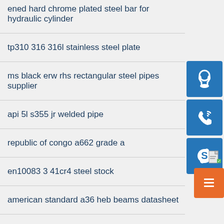ened hard chrome plated steel bar for hydraulic cylinder
tp310 316 316l stainless steel plate
ms black erw rhs rectangular steel pipes supplier
api 5l s355 jr welded pipe
republic of congo a662 grade a
en10083 3 41cr4 steel stock
american standard a36 heb beams datasheet
portable car garage about workshops sugar
smart density meter